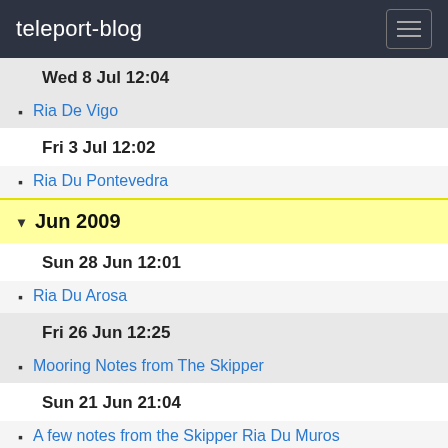teleport-blog
Wed 8 Jul 12:04
Ria De Vigo
Fri 3 Jul 12:02
Ria Du Pontevedra
Jun 2009
Sun 28 Jun 12:01
Ria Du Arosa
Fri 26 Jun 12:25
Mooring Notes from The Skipper
Sun 21 Jun 21:04
A few notes from the Skipper Ria Du Muros
Thu 18 Jun 21:05
Ria de Camarinas
Sun 14 Jun 17:03
La Coruna for 3 days